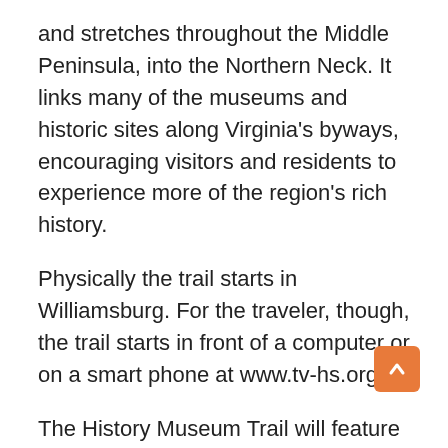and stretches throughout the Middle Peninsula, into the Northern Neck. It links many of the museums and historic sites along Virginia's byways, encouraging visitors and residents to experience more of the region's rich history.
Physically the trail starts in Williamsburg. For the traveler, though, the trail starts in front of a computer or on a smart phone at www.tv-hs.org.
The History Museum Trail will feature an interactive web based map (with mobile applications) with information about each museum and historic site located within a short drive of Williamsburg. This trail will include travel directions to get seamlessly from one site to another, and places to lodge and eat along the way.
The first version of the trail's web map is expected to be